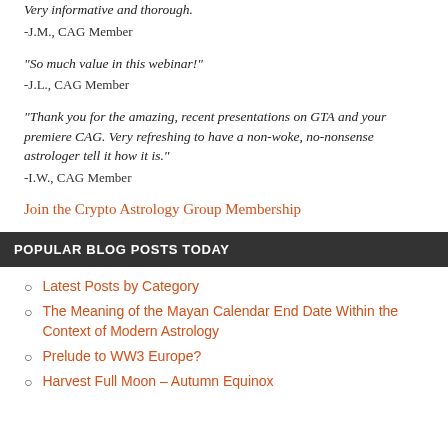Very informative and thorough.
-J.M., CAG Member
“So much value in this webinar!”
-J.L., CAG Member
“Thank you for the amazing, recent presentations on GTA and your premiere CAG. Very refreshing to have a non-woke, no-nonsense astrologer tell it how it is.”
-I.W., CAG Member
Join the Crypto Astrology Group Membership
POPULAR BLOG POSTS TODAY
Latest Posts by Category
The Meaning of the Mayan Calendar End Date Within the Context of Modern Astrology
Prelude to WW3 Europe?
Harvest Full Moon – Autumn Equinox